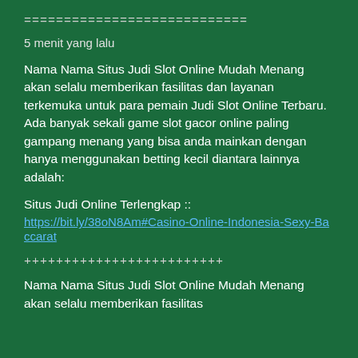============================
5 menit yang lalu
Nama Nama Situs Judi Slot Online Mudah Menang akan selalu memberikan fasilitas dan layanan terkemuka untuk para pemain Judi Slot Online Terbaru. Ada banyak sekali game slot gacor online paling gampang menang yang bisa anda mainkan dengan hanya menggunakan betting kecil diantara lainnya adalah:
Situs Judi Online Terlengkap ::
https://bit.ly/38oN8Am#Casino-Online-Indonesia-Sexy-Baccarat
+++++++++++++++++++++++++
Nama Nama Situs Judi Slot Online Mudah Menang akan selalu memberikan fasilitas